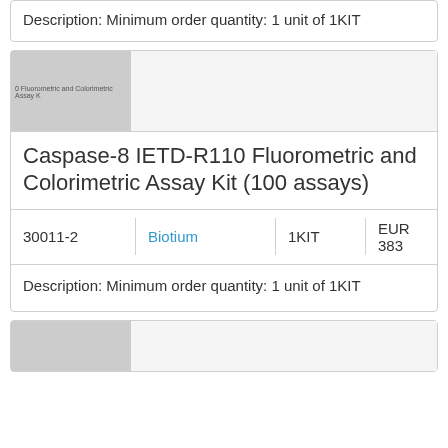Description: Minimum order quantity: 1 unit of 1KIT
[Figure (photo): Product image placeholder for Caspase-8 IETD-R110 Fluorometric and Colorimetric Assay Kit, gray rectangle with partial text label]
Caspase-8 IETD-R110 Fluorometric and Colorimetric Assay Kit (100 assays)
| 30011-2 | Biotium | 1KIT | EUR 383 |
| --- | --- | --- | --- |
Description: Minimum order quantity: 1 unit of 1KIT
[Figure (photo): Product image placeholder, gray rectangle, partial view at bottom of page]